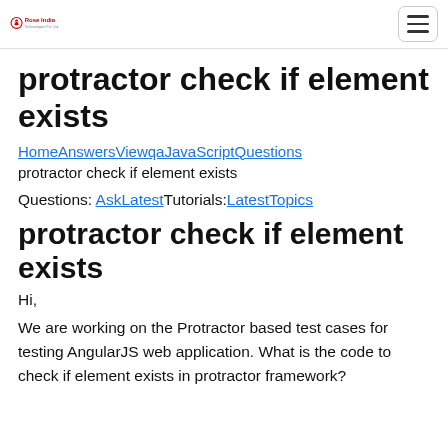Rose India [logo] [hamburger menu]
protractor check if element exists
HomeAnswersViewqaJavaScriptQuestions
protractor check if element exists
Questions: AskLatestTutorials:LatestTopics
protractor check if element exists
Hi,
We are working on the Protractor based test cases for testing AngularJS web application. What is the code to check if element exists in protractor framework?